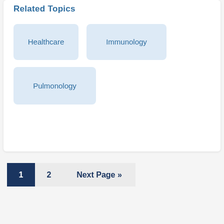Related Topics
Healthcare
Immunology
Pulmonology
1  2  Next Page »